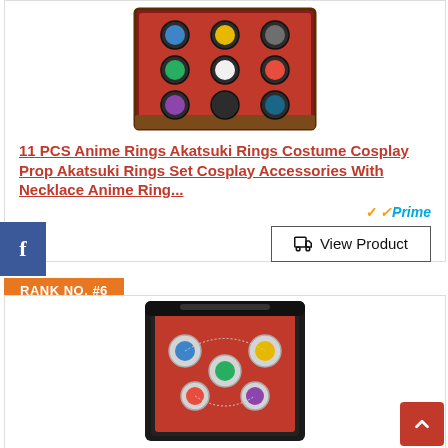[Figure (photo): Product image of 11 PCS Akatsuki Rings set in a red display box on a dark background]
11 PCS Anime Rings Akatsuki Rings Costume Cosplay Prop Akatsuki Rings Set Cosplay Accessories With Necklace Anime Ring...
[Figure (logo): Amazon Prime badge with orange checkmark]
View Product
RANK NO. #6
[Figure (photo): Product image of anime rings set with necklace in a black display case on red velvet]